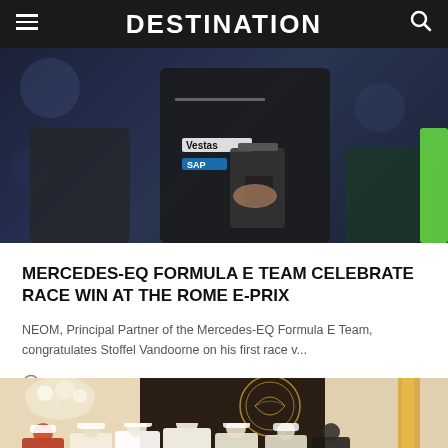DESTINATION
[Figure (photo): Racing team member in dark jacket with Vestas and SAP logos holding a trophy or device at the Rome E-Prix]
MERCEDES-EQ FORMULA E TEAM CELEBRATE RACE WIN AT THE ROME E-PRIX
NEOM, Principal Partner of the Mercedes-EQ Formula E Team, congratulates Stoffel Vandoorne on his first race v...
1 year ago
[Figure (photo): Group of men in traditional Saudi Arabian dress standing in front of a dark decorative background with an ornamental logo]